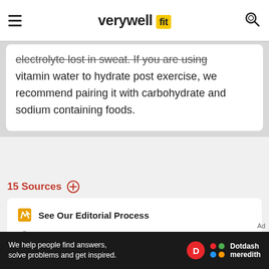verywell fit
electrolyte lost in sweat. If you are using vitamin water to hydrate post exercise, we recommend pairing it with carbohydrate and sodium containing foods.
15 Sources
See Our Editorial Process
Meet Our Review Board
Share Feedback
Ad
We help people find answers, solve problems and get inspired. Dotdash meredith